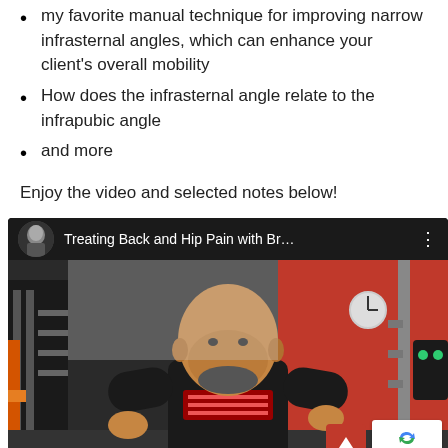my favorite manual technique for improving narrow infrasternal angles, which can enhance your client's overall mobility
How does the infrasternal angle relate to the infrapubic angle
and more
Enjoy the video and selected notes below!
[Figure (screenshot): YouTube video embed showing 'Treating Back and Hip Pain with Br...' with a bald bearded man in a black shirt working out in a gym with red walls]